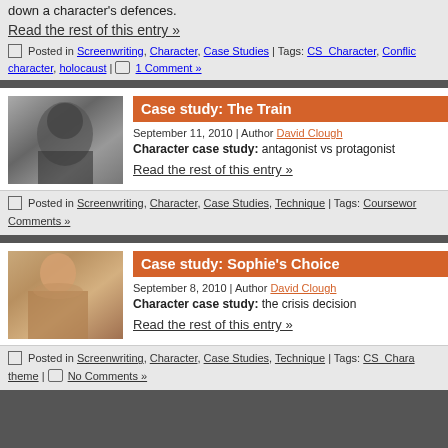down a character's defences.
Read the rest of this entry »
Posted in Screenwriting, Character, Case Studies | Tags: CS_Character, Conflic... character, holocaust | 1 Comment »
Case study: The Train
September 11, 2010 | Author David Clough
Character case study: antagonist vs protagonist
Read the rest of this entry »
Posted in Screenwriting, Character, Case Studies, Technique | Tags: Coursewor... Comments »
Case study: Sophie's Choice
September 8, 2010 | Author David Clough
Character case study: the crisis decision
Read the rest of this entry »
Posted in Screenwriting, Character, Case Studies, Technique | Tags: CS_Chara... theme | No Comments »